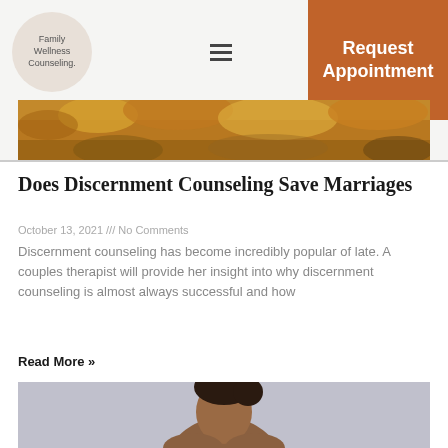Family Wellness Counseling.
[Figure (photo): Banner image of autumn foliage with orange and yellow leaves]
Does Discernment Counseling Save Marriages
October 13, 2021 /// No Comments
Discernment counseling has become incredibly popular of late. A couples therapist will provide her insight into why discernment counseling is almost always successful and how
Read More »
[Figure (photo): Portrait photo of a Black woman looking downward, wearing a dark sports bra, gray background]